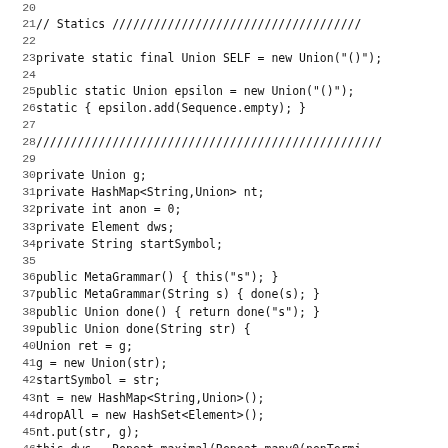[Figure (screenshot): Source code listing (Java) showing lines 20-51 of a MetaGrammar class, with line numbers on the left and code on the right in monospace font.]